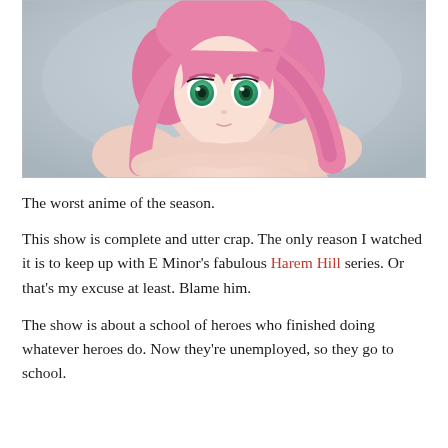[Figure (illustration): Anime character with short pink/magenta hair and wide green eyes, looking upward with a surprised or startled expression. The character appears unclothed with arms crossed over chest. Background is a muted blue-grey.]
The worst anime of the season.
This show is complete and utter crap. The only reason I watched it is to keep up with E Minor's fabulous Harem Hill series. Or that's my excuse at least. Blame him.
The show is about a school of heroes who finished doing whatever heroes do. Now they're unemployed, so they go to school.